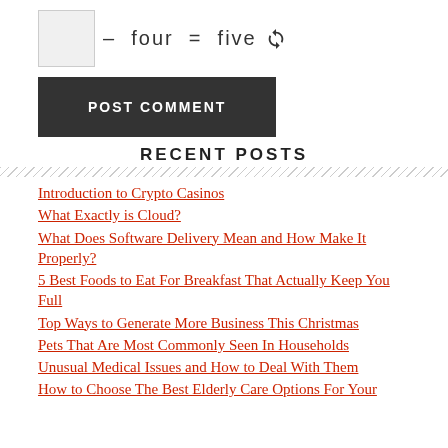– four = five [refresh icon]
POST COMMENT
RECENT POSTS
Introduction to Crypto Casinos
What Exactly is Cloud?
What Does Software Delivery Mean and How Make It Properly?
5 Best Foods to Eat For Breakfast That Actually Keep You Full
Top Ways to Generate More Business This Christmas
Pets That Are Most Commonly Seen In Households
Unusual Medical Issues and How to Deal With Them
How to Choose The Best Elderly Care Options For Your